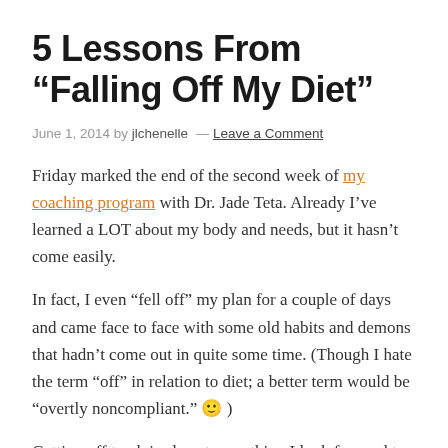5 Lessons From “Falling Off My Diet”
June 1, 2014 by jlchenelle — Leave a Comment
Friday marked the end of the second week of my coaching program with Dr. Jade Teta. Already I’ve learned a LOT about my body and needs, but it hasn’t come easily.
In fact, I even “fell off” my plan for a couple of days and came face to face with some old habits and demons that hadn’t come out in quite some time. (Though I hate the term “off” in relation to diet; a better term would be “overtly noncompliant.” 🙂 )
Getting off track is almost something I look forward to